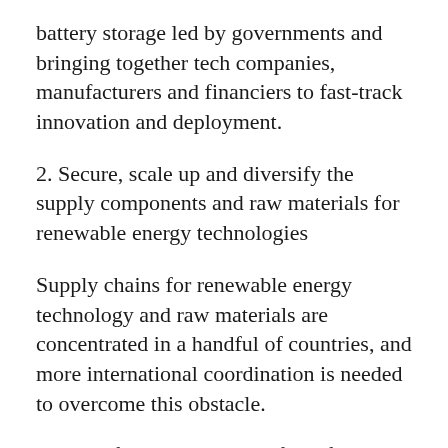battery storage led by governments and bringing together tech companies, manufacturers and financiers to fast-track innovation and deployment.
2. Secure, scale up and diversify the supply components and raw materials for renewable energy technologies
Supply chains for renewable energy technology and raw materials are concentrated in a handful of countries, and more international coordination is needed to overcome this obstacle.
3. Build frameworks and reform fossil fuel